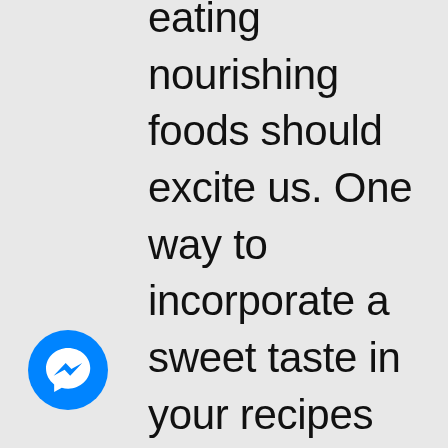eating nourishing foods should excite us. One way to incorporate a sweet taste in your recipes without using traditional sweeteners is by using Stevia Glycerite. This can be found at any health foods store. Stevia Glycerite is thick like honey and is a great substitute for the sweet flavor that you lack in the keto diet. Best of all, it
[Figure (logo): Facebook Messenger icon — blue circle with white lightning bolt chat bubble symbol]